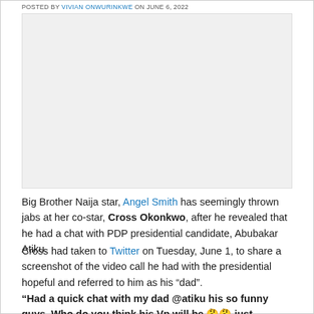POSTED BY VIVIAN ONWURINKWE ON JUNE 6, 2022
[Figure (photo): Blank image placeholder area]
Big Brother Naija star, Angel Smith has seemingly thrown jabs at her co-star, Cross Okonkwo, after he revealed that he had a chat with PDP presidential candidate, Abubakar Atiku.
Cross had taken to Twitter on Tuesday, June 1, to share a screenshot of the video call he had with the presidential hopeful and referred to him as his “dad”.
“Had a quick chat with my dad @atiku his so funny guys. Who do you think his Vp will be 🤔🤔 just thinking 💭 out loud”, he wrote.